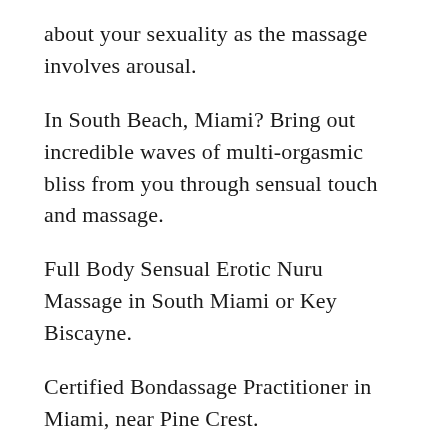about your sexuality as the massage involves arousal.
In South Beach, Miami? Bring out incredible waves of multi-orgasmic bliss from you through sensual touch and massage.
Full Body Sensual Erotic Nuru Massage in South Miami or Key Biscayne.
Certified Bondassage Practitioner in Miami, near Pine Crest.
Full Body Sensual Massage near Coral Gables.